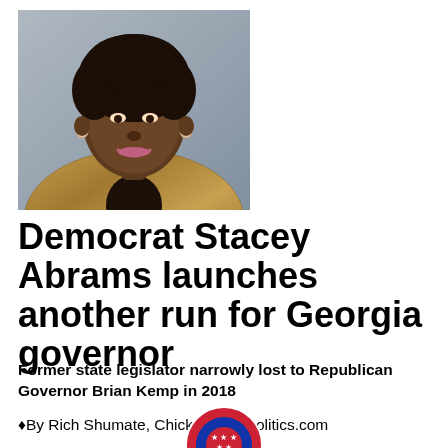[Figure (photo): Portrait photo of Stacey Abrams, a Black woman with natural hair, wearing a plaid blazer, smiling.]
Democrat Stacey Abrams launches another run for Georgia governor
Former state legislator narrowly lost to Republican Governor Brian Kemp in 2018
♦By Rich Shumate, ChickenFriedPolitics.com
[Figure (logo): Circular logo partially visible at bottom center, red white and blue with stars.]